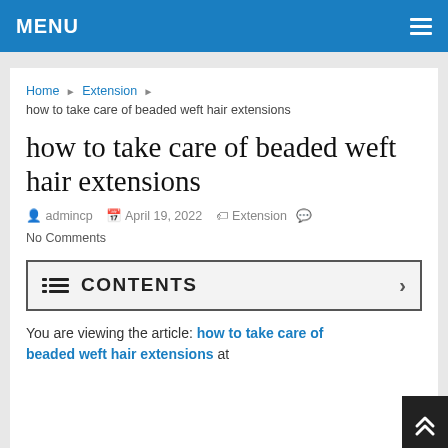MENU
Home ▶ Extension ▶ how to take care of beaded weft hair extensions
how to take care of beaded weft hair extensions
admincp  April 19, 2022  Extension  No Comments
≡ CONTENTS
You are viewing the article: how to take care of beaded weft hair extensions at